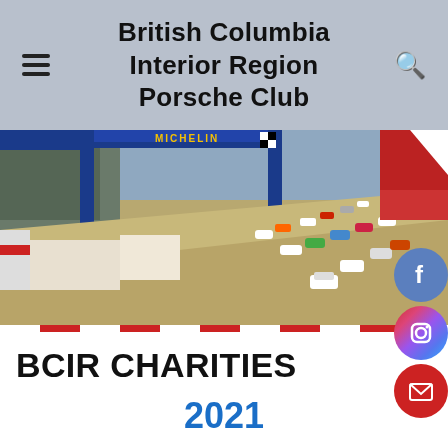British Columbia Interior Region Porsche Club
[Figure (photo): Race cars on a circuit track under a Michelin arch banner, with crowds visible in the background]
BCIR CHARITIES
2021
Okay… the numbers are in! Not only did BCIR Kelowna beat last year's donations to the Central